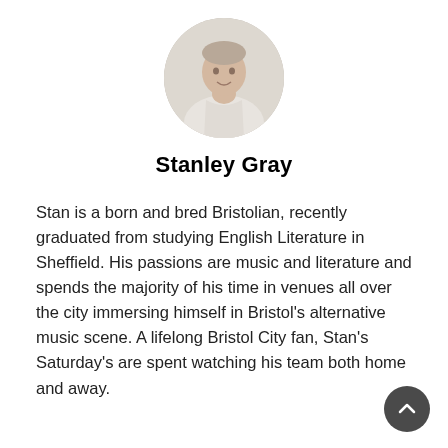[Figure (photo): Circular profile photo of Stanley Gray, a young man in a light-coloured hoodie, photographed indoors]
Stanley Gray
Stan is a born and bred Bristolian, recently graduated from studying English Literature in Sheffield. His passions are music and literature and spends the majority of his time in venues all over the city immersing himself in Bristol's alternative music scene. A lifelong Bristol City fan, Stan's Saturday's are spent watching his team both home and away.